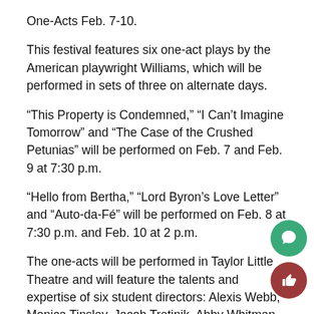One-Acts Feb. 7-10.
This festival features six one-act plays by the American playwright Williams, which will be performed in sets of three on alternate days.
“This Property is Condemned,” “I Can’t Imagine Tomorrow” and “The Case of the Crushed Petunias” will be performed on Feb. 7 and Feb. 9 at 7:30 p.m.
“Hello from Bertha,” “Lord Byron’s Love Letter” and “Auto-da-Fé” will be performed on Feb. 8 at 7:30 p.m. and Feb. 10 at 2 p.m.
The one-acts will be performed in Taylor Little Theatre and will feature the talents and expertise of six student directors: Alexis Webb, Monica Tinsley, Jacob Tretinik, Abby Whitman, Tessa Sayre and Elizabeth Shewan.